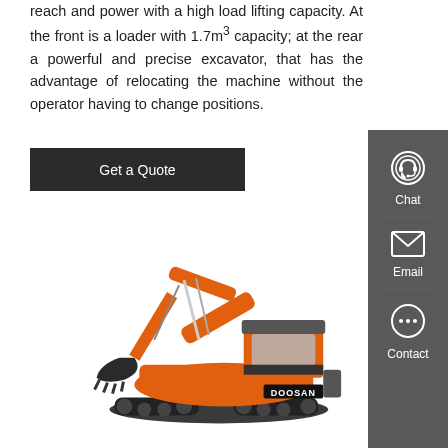reach and power with a high load lifting capacity. At the front is a loader with 1.7m 3 capacity; at the rear a powerful and precise excavator, that has the advantage of relocating the machine without the operator having to change positions.
[Figure (other): Dark button labeled 'Get a Quote']
[Figure (other): Right sidebar with Chat, Email, and Contact icons on dark grey background]
[Figure (photo): Doosan orange excavator on white background, showing the full machine with arm raised and bucket visible]